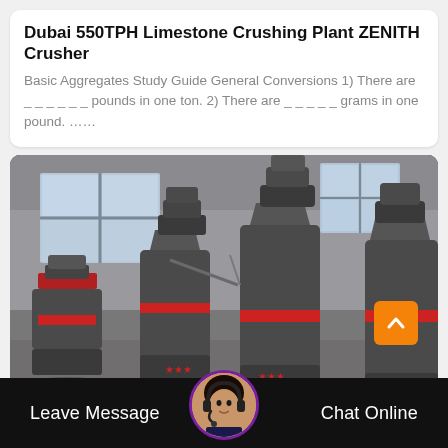Dubai 550TPH Limestone Crushing Plant ZENITH Crusher
Basic Aggregates Study Guide General Conversions 1) There are ______ pounds in one ton. 2) There are _____ grams in one pound. ……
[Figure (photo): Industrial limestone crusher machines in a large warehouse/factory setting. Multiple large grey cylindrical cone crushers with red bands are visible, illuminated by natural light through large industrial windows in the background.]
Leave Message   Chat Online